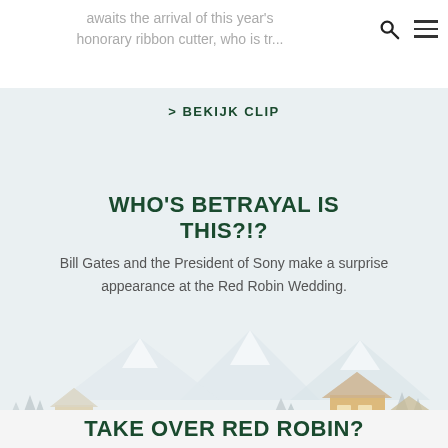awaits the arrival of this year's honorary ribbon cutter, who is tr...
> BEKIJK CLIP
WHO'S BETRAYAL IS THIS?!?
Bill Gates and the President of Sony make a surprise appearance at the Red Robin Wedding.
> BEKIJK CLIP
[Figure (illustration): Winter village illustration with snow-capped mountains and cabins]
TAKE OVER RED ROBIN?